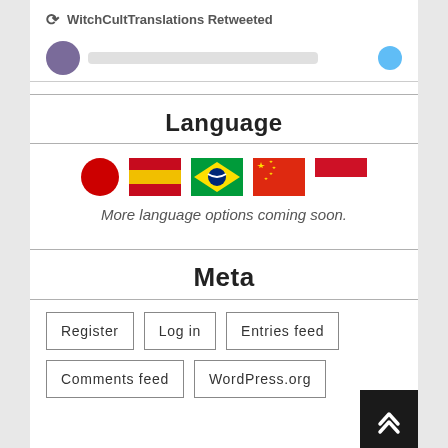WitchCultTranslations Retweeted
Language
[Figure (infographic): Row of 5 flag icons representing different language options: Japanese (red circle), Spanish (Spain flag), Brazilian (Brazil flag), Chinese (China flag), Indonesian (red-white flag)]
More language options coming soon.
Meta
Register
Log in
Entries feed
Comments feed
WordPress.org